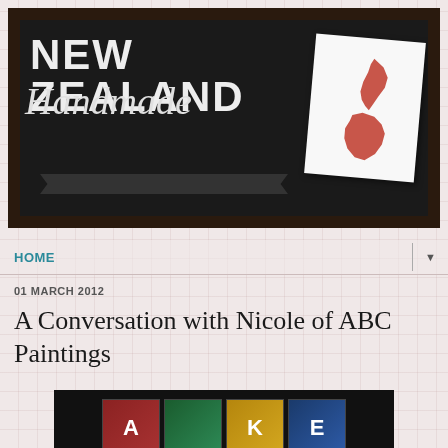[Figure (illustration): New Zealand Handmade blog banner on dark chalkboard background with large bold white 'NEW ZEALAND' text, cursive 'Handmade' script below, tagline 'promoting and supporting New Zealand creatives!', and a white card with a red map of New Zealand in the top right corner]
HOME
01 MARCH 2012
A Conversation with Nicole of ABC Paintings
[Figure (photo): Dark background photo showing colorful letter tiles spelling out letters including A, K, E]